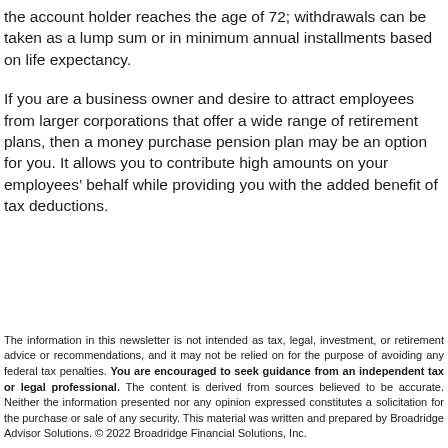the account holder reaches the age of 72; withdrawals can be taken as a lump sum or in minimum annual installments based on life expectancy.
If you are a business owner and desire to attract employees from larger corporations that offer a wide range of retirement plans, then a money purchase pension plan may be an option for you. It allows you to contribute high amounts on your employees' behalf while providing you with the added benefit of tax deductions.
The information in this newsletter is not intended as tax, legal, investment, or retirement advice or recommendations, and it may not be relied on for the purpose of avoiding any federal tax penalties. You are encouraged to seek guidance from an independent tax or legal professional. The content is derived from sources believed to be accurate. Neither the information presented nor any opinion expressed constitutes a solicitation for the purchase or sale of any security. This material was written and prepared by Broadridge Advisor Solutions. © 2022 Broadridge Financial Solutions, Inc.